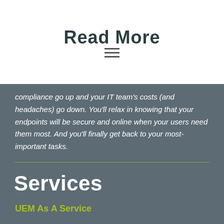Read More
[Figure (other): Hamburger menu icon with three horizontal lines]
compliance go up and your IT team's costs (and headaches) go down. You'll relax in knowing that your endpoints will be secure and online when your users need them most. And you'll finally get back to your most-important tasks.
Services
UEM As A Service